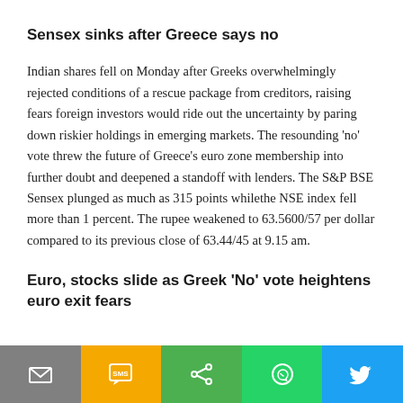Sensex sinks after Greece says no
Indian shares fell on Monday after Greeks overwhelmingly rejected conditions of a rescue package from creditors, raising fears foreign investors would ride out the uncertainty by paring down riskier holdings in emerging markets. The resounding 'no' vote threw the future of Greece's euro zone membership into further doubt and deepened a standoff with lenders. The S&P BSE Sensex plunged as much as 315 points whilethe NSE index fell more than 1 percent. The rupee weakened to 63.5600/57 per dollar compared to its previous close of 63.44/45 at 9.15 am.
Euro, stocks slide as Greek 'No' vote heightens euro exit fears
[Figure (other): Mobile share toolbar with email, SMS, share, WhatsApp, and Twitter buttons]